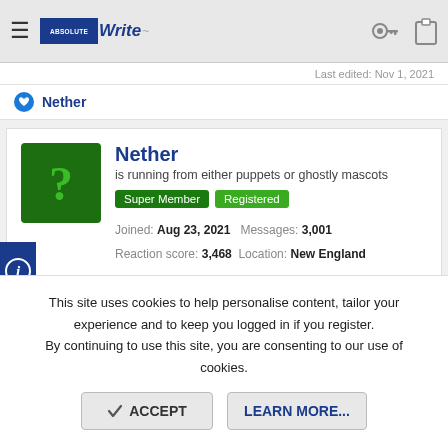AbsoluteWrite — navigation bar with hamburger menu, logo, key icon, clipboard icon
Last edited: Nov 1, 2021
Nether
Nether
is running from either puppets or ghostly mascots
Super Member  Registered
Joined: Aug 23, 2021  Messages: 3,001
Reaction score: 3,468  Location: New England
Nov 1, 2021  #241
Cindut said: ↑
This site uses cookies to help personalise content, tailor your experience and to keep you logged in if you register.
By continuing to use this site, you are consenting to our use of cookies.
ACCEPT  LEARN MORE...